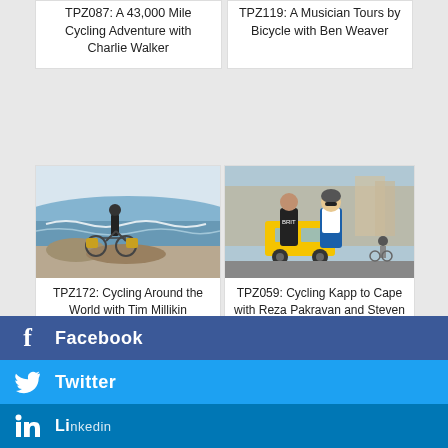TPZ087: A 43,000 Mile Cycling Adventure with Charlie Walker
TPZ119: A Musician Tours by Bicycle with Ben Weaver
[Figure (photo): A cyclist with loaded touring bike standing on a rocky coastal road with ocean waves in the background]
TPZ172: Cycling Around the World with Tim Millikin
[Figure (photo): Two cyclists in cycling jerseys posing in front of yellow taxi cab in an urban setting]
TPZ059: Cycling Kapp to Cape with Reza Pakravan and Steven Pawley
Facebook
Twitter
LinkedIn